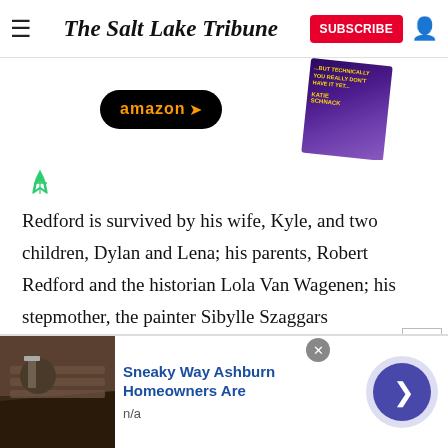The Salt Lake Tribune
[Figure (screenshot): Amazon button and book cover for Katie Schnack book]
[Figure (logo): Green feather/filter icon]
Redford is survived by his wife, Kyle, and two children, Dylan and Lena; his parents, Robert Redford and the historian Lola Van Wagenen; his stepmother, the painter Sibylle Szaggars Redford; his stepfather, George Burrill; and his sisters, painter Shauna Redford Schlosser and filmmaker Amy Redford. An older brother, Scott, died in infancy.
[Figure (screenshot): Advertisement: Sneaky Way Ashburn Homeowners Are - n/a, with roof photo and navigation arrow button]